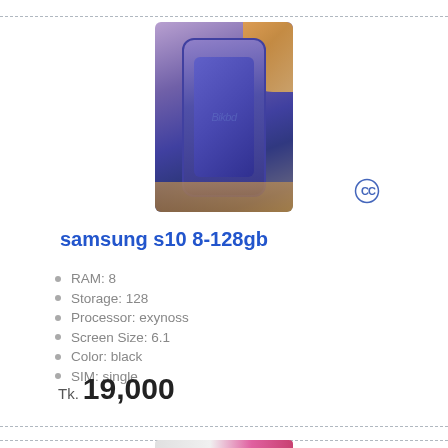[Figure (photo): Person holding a Samsung S10 smartphone with purple/blue screen, hand visible holding the phone against an orange/yellow background]
samsung s10 8-128gb
RAM: 8
Storage: 128
Processor: exynoss
Screen Size: 6.1
Color: black
SIM: single
Tk. 19,000
[Figure (photo): Two smartphones side by side, one white and one pink/red, displayed on a blue background - partially visible at bottom of page]